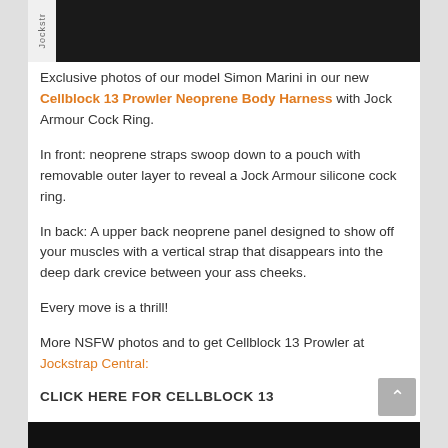[Figure (photo): Top portion of a dark/black photo of model Simon Marini wearing a body harness, with a 'Jockstr' vertical text label on the left side]
Exclusive photos of our model Simon Marini in our new Cellblock 13 Prowler Neoprene Body Harness with Jock Armour Cock Ring.
In front: neoprene straps swoop down to a pouch with removable outer layer to reveal a Jock Armour silicone cock ring.
In back: A upper back neoprene panel designed to show off your muscles with a vertical strap that disappears into the deep dark crevice between your ass cheeks.
Every move is a thrill!
More NSFW photos and to get Cellblock 13 Prowler at Jockstrap Central:
CLICK HERE FOR CELLBLOCK 13
[Figure (photo): Bottom portion of dark photo, partially visible at the bottom of the page]